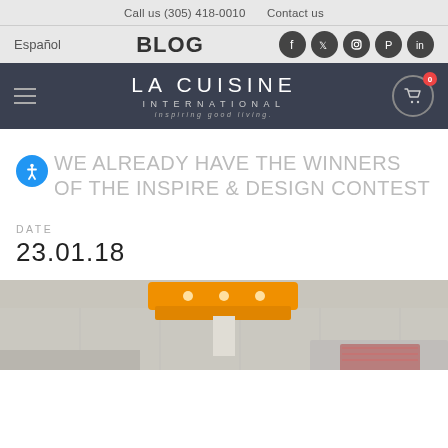Call us (305) 418-0010   Contact us
Español   BLOG   [social icons: Facebook, Twitter, Instagram, Pinterest, LinkedIn]
LA CUISINE INTERNATIONAL inspiring good living
WE ALREADY HAVE THE WINNERS OF THE INSPIRE & DESIGN CONTEST
DATE
23.01.18
[Figure (photo): Interior kitchen render showing an orange modern ceiling fixture/island hood over a kitchen island, with recessed lighting visible]